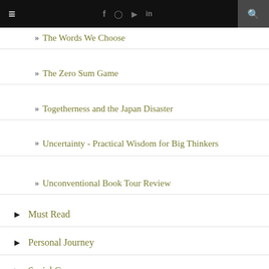Navigation bar with hamburger menu, social icons (Facebook, Instagram, YouTube, LinkedIn), and search button
» The Words We Choose
» The Zero Sum Game
» Togetherness and the Japan Disaster
» Uncertainty - Practical Wisdom for Big Thinkers
» Unconventional Book Tour Review
▶ Must Read
▶ Personal Journey
▶ Social Causes
▶ Travel and Adventure
POST ARCHIVE
Select Month